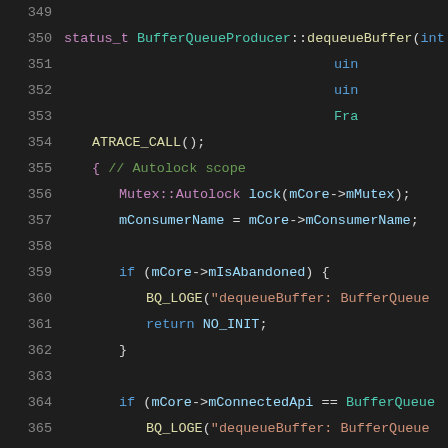[Figure (screenshot): Syntax-highlighted C++ source code showing lines 349-370 of a file, featuring the BufferQueueProducer::dequeueBuffer function implementation with Autolock scope, abandoned buffer check, and connected API check.]